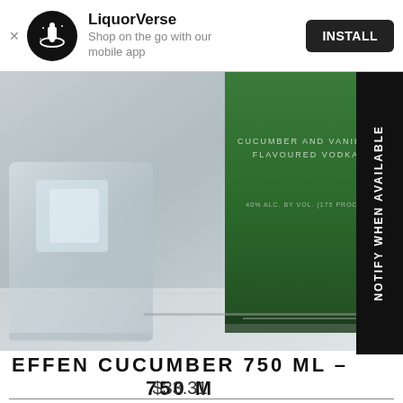LiquorVerse — Shop on the go with our mobile app — INSTALL
[Figure (photo): Close-up photo of EFFEN Cucumber and Vanilla flavoured vodka bottle label (green label) with a glass of ice, soft focus background]
EFFEN CUCUMBER 750 ML – 750 M
$33.31